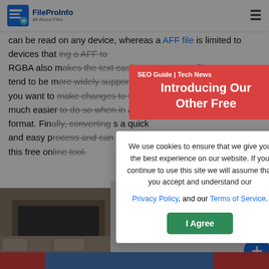FileProInfo — All About Files | SEO Guide | Tech News
There are many benefits to converting a AFF file to RGBA. The most obvious benefit is that a RGBA file can be read on any device, whereas a AFF file is limited to devices that support it. Converting a AFF to RGBA also makes the text easier to read as RGBA files tend to be more widely supported. Additionally, if you want to make changes to an RGBA document, it can be much easier to do so when the document is an AFF format. Finally, converting a AFF to RGBA is a quick and easy process and can be done for free using this free online tool.
[Figure (screenshot): Red promotional banner popup reading 'SEO Guide | Tech News — Introducing Our Other Free' with a close X button, overlaid on the page content]
[Figure (screenshot): Cookie consent modal dialog reading: 'We use cookies to ensure that we give you the best experience on our website. If you continue to use this site we will assume that you accept and understand our Privacy Policy, and our Terms of Service.' with an 'I Agree' green button]
[Figure (photo): Advertisement image showing a stone fireplace / LT Rush Stone & More]
LT Rush Stone &